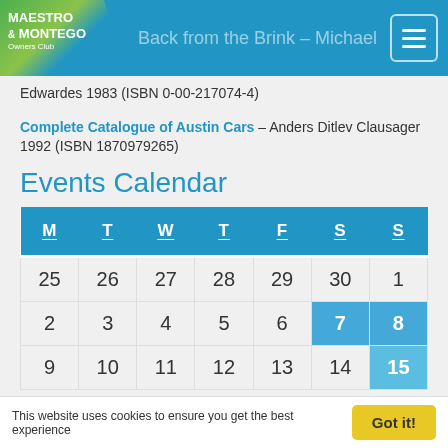Maestro & Montego Owners Club — Back from the Brink – Michael Edwardes 1983 (ISBN 0-00-217074-4)
Edwardes 1983 (ISBN 0-00-217074-4)
Complete Catalogue of Austin Cars – Anders Ditlev Clausager 1992 (ISBN 1870979265)
Events Calendar
| M | T | W | T | F | S | S |
| --- | --- | --- | --- | --- | --- | --- |
| 25 | 26 | 27 | 28 | 29 | 30 | 1 |
| 2 | 3 | 4 | 5 | 6 | 7 | 8 |
| 9 | 10 | 11 | 12 | 13 | 14 | 15 |
This website uses cookies to ensure you get the best experience   Got it!